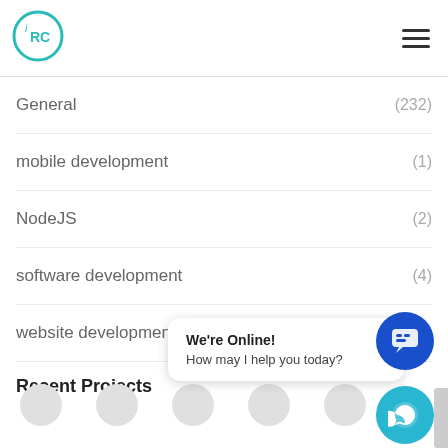[Figure (logo): iRC logo — circle with teal border and stylized iRC letters inside]
General (232)
mobile development (1)
NodeJS (2)
software development (4)
website development (5)
Recent Projects
We're Online!
How may I help you today?
[Figure (illustration): Blue circular chat button with speech bubble icon]
[Figure (illustration): Teal circular WhatsApp button with phone icon]
[Figure (illustration): Row of grey placeholder project circles]